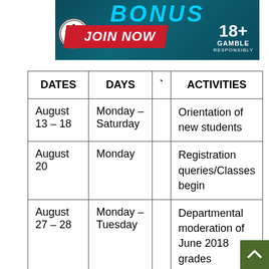[Figure (illustration): Sports betting advertisement banner with soccer ball, 'JOIN NOW' button, '18+ GAMBLE RESPONSIBLY' text, and 'BONUS' text in blue]
| DATES | DAYS | ` | ACTIVITIES |
| --- | --- | --- | --- |
| August 13 – 18 | Monday – Saturday |  | Orientation of new students |
| August 20 | Monday |  | Registration queries/Classes begin |
| August 27 – 28 | Monday – Tuesday |  | Departmental moderation of June 2018 grades |